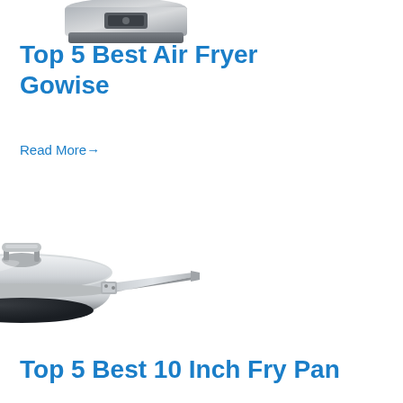[Figure (photo): Partial view of an air fryer appliance, showing the bottom portion with gray/silver body, cropped at top of page]
Top 5 Best Air Fryer Gowise
Read More→
[Figure (photo): Stainless steel 10-inch fry pan with lid, silver/chrome finish, long handle extending to the right, viewed from a slight angle]
Top 5 Best 10 Inch Fry Pan